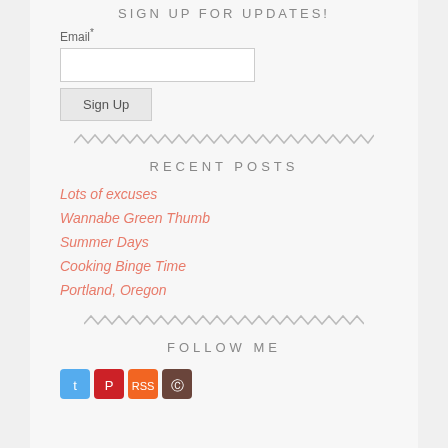SIGN UP FOR UPDATES!
Email*
[Figure (other): Email input field and Sign Up button]
[Figure (other): Zigzag decorative divider line]
RECENT POSTS
Lots of excuses
Wannabe Green Thumb
Summer Days
Cooking Binge Time
Portland, Oregon
[Figure (other): Zigzag decorative divider line]
FOLLOW ME
[Figure (other): Social media icons: Twitter, Pinterest, RSS, Instagram]